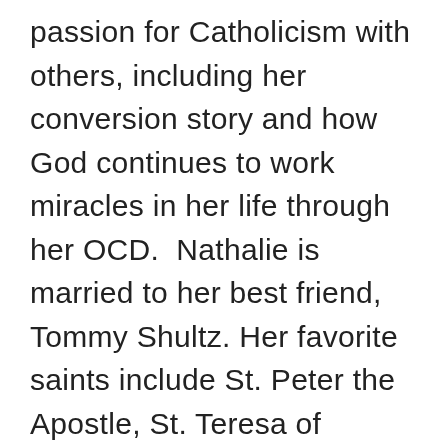passion for Catholicism with others, including her conversion story and how God continues to work miracles in her life through her OCD.  Nathalie is married to her best friend, Tommy Shultz. Her favorite saints include St. Peter the Apostle, St. Teresa of Calcutta, and St. John Paul II. She is also a huge fan of C.S. Lewis. If you have any questions for Nathalie, or just want her to pray for you, you can email her at